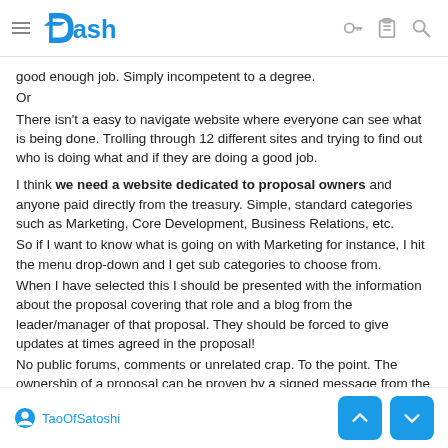Dash
good enough job. Simply incompetent to a degree.
Or
There isn't a easy to navigate website where everyone can see what is being done. Trolling through 12 different sites and trying to find out who is doing what and if they are doing a good job.
I think we need a website dedicated to proposal owners and anyone paid directly from the treasury. Simple, standard categories such as Marketing, Core Development, Business Relations, etc.
So if I want to know what is going on with Marketing for instance, I hit the menu drop-down and I get sub categories to choose from.
When I have selected this I should be presented with the information about the proposal covering that role and a blog from the leader/manager of that proposal. They should be forced to give updates at times agreed in the proposal!
No public forums, comments or unrelated crap. To the point. The ownership of a proposal can be proven by a signed message from the proposer's Dash address.
TaoOfSatoshi